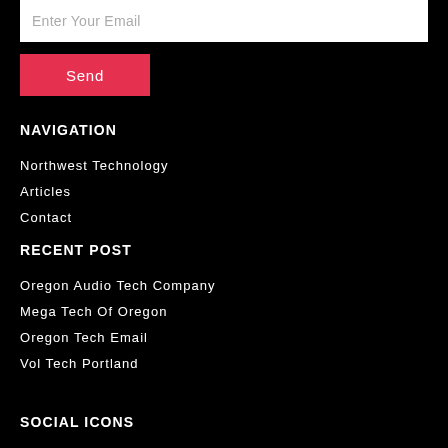Enter Your Email
Send
NAVIGATION
Northwest Technology
Articles
Contact
RECENT POST
Oregon Audio Tech Company
Mega Tech Of Oregon
Oregon Tech Email
Vol Tech Portland
SOCIAL ICONS